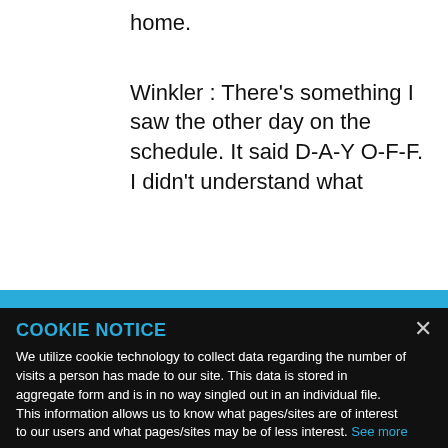home.
Winkler : There’s something I saw the other day on the schedule. It said D-A-Y O-F-F. I didn’t understand what
COOKIE NOTICE
We utilize cookie technology to collect data regarding the number of visits a person has made to our site. This data is stored in aggregate form and is in no way singled out in an individual file. This information allows us to know what pages/sites are of interest to our users and what pages/sites may be of less interest. See more